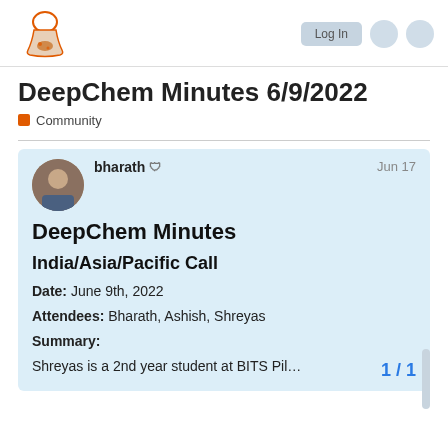deepchem
DeepChem Minutes 6/9/2022
Community
bharath  Jun 17
DeepChem Minutes
India/Asia/Pacific Call
Date: June 9th, 2022
Attendees: Bharath, Ashish, Shreyas
Summary:
Shreyas is a 2nd year student at BITS Pil…
1 / 1